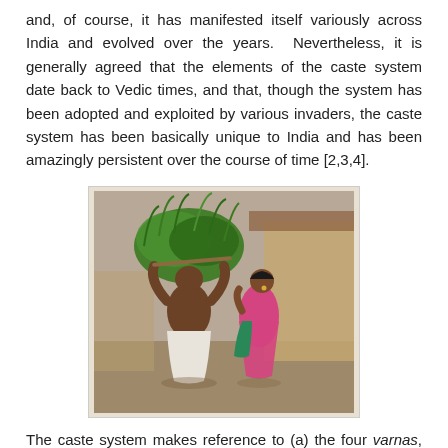and, of course, it has manifested itself variously across India and evolved over the years.  Nevertheless, it is generally agreed that the elements of the caste system date back to Vedic times, and that, though the system has been adopted and exploited by various invaders, the caste system has been basically unique to India and has been amazingly persistent over the course of time [2,3,4].
[Figure (photo): A man carrying a large bundle of grass on his head and a woman in a pink sari standing next to him in what appears to be a rural Indian village setting.]
The caste system makes reference to (a) the four varnas, which are essentially the primary social classes – Brahmins, Kshatriyas, Vaishyas and Shudras – as well as to (b) the